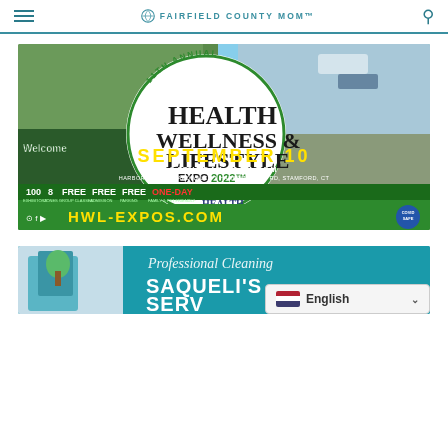FAIRFIELD COUNTY MOM™
[Figure (infographic): 11th Annual Health Wellness & Lifestyle Expo 2022 advertisement. Features event details: September 10, Saturday 10AM-6PM, Harbor Point Boardwalk, 1 Harbor Point Rd, Stamford, CT. 100 Exhibitors, 8 Zones, Free Group Classes, Free Admission, Free Parking, One-Day Family & Pet Friendly. Sponsored by Stamford Health. Website: HWL-EXPOS.COM. Background shows aerial and ground photos of people at event.]
[Figure (infographic): Professional Cleaning advertisement for Saqueli's Services, with teal background and photo of cleaning supplies.]
English